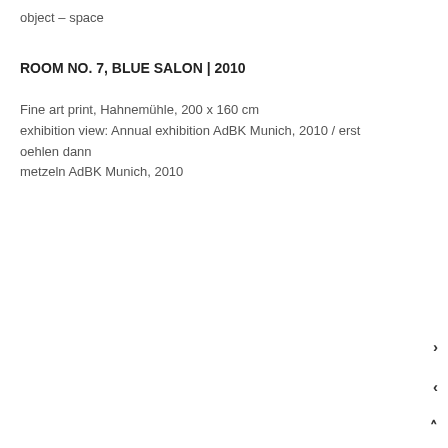object – space
ROOM NO. 7, BLUE SALON | 2010
Fine art print, Hahnemühle, 200 x 160 cm
exhibition view: Annual exhibition AdBK Munich, 2010 / erst oehlen dann metzeln AdBK Munich, 2010
[Figure (other): Small light blue/turquoise square placeholder image in center of page, with navigation arrows (right, left, up, down) on the right side]